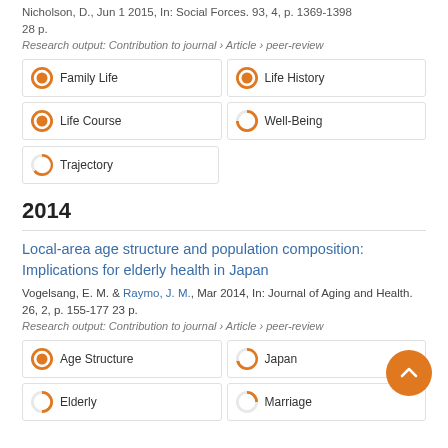Nicholson, D., Jun 1 2015, In: Social Forces. 93, 4, p. 1369-1398 28 p.
Research output: Contribution to journal › Article › peer-review
Family Life
Life History
Life Course
Well-Being
Trajectory
2014
Local-area age structure and population composition: Implications for elderly health in Japan
Vogelsang, E. M. & Raymo, J. M., Mar 2014, In: Journal of Aging and Health. 26, 2, p. 155-177 23 p.
Research output: Contribution to journal › Article › peer-review
Age Structure
Japan
Elderly
Marriage